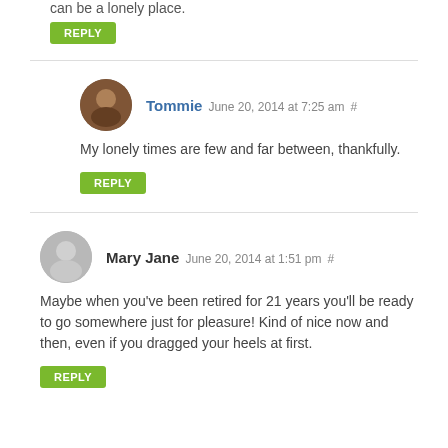can be a lonely place.
REPLY
Tommie June 20, 2014 at 7:25 am #
My lonely times are few and far between, thankfully.
REPLY
Mary Jane June 20, 2014 at 1:51 pm #
Maybe when you've been retired for 21 years you'll be ready to go somewhere just for pleasure! Kind of nice now and then, even if you dragged your heels at first.
REPLY